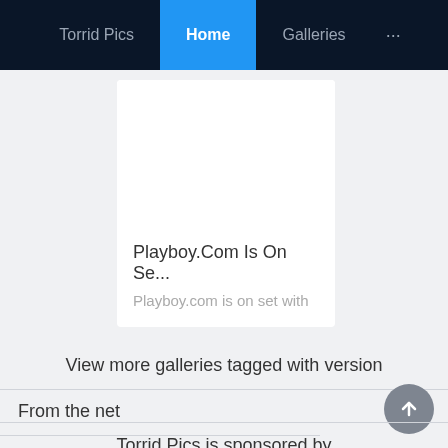Torrid Pics   Home   Galleries   ...
[Figure (screenshot): White card with blank image area]
Playboy.Com Is On Se...
Playboy.com is on set with
View more galleries tagged with version
From the net
Torrid Pics is sponsored by